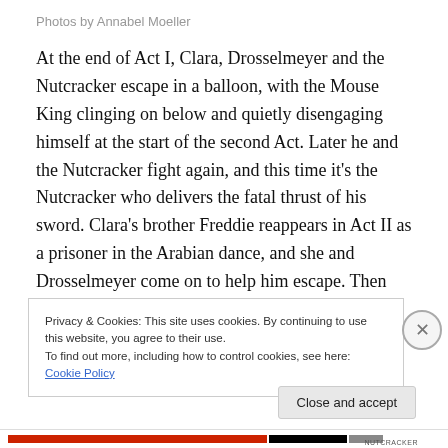Photos by Annabel Moeller
At the end of Act I, Clara, Drosselmeyer and the Nutcracker escape in a balloon, with the Mouse King clinging on below and quietly disengaging himself at the start of the second Act. Later he and the Nutcracker fight again, and this time it’s the Nutcracker who delivers the fatal thrust of his sword. Clara’s brother Freddie reappears in Act II as a prisoner in the Arabian dance, and she and Drosselmeyer come on to help him escape. Then right at the very end of the ballet when the guests leave the
Privacy & Cookies: This site uses cookies. By continuing to use this website, you agree to their use.
To find out more, including how to control cookies, see here: Cookie Policy